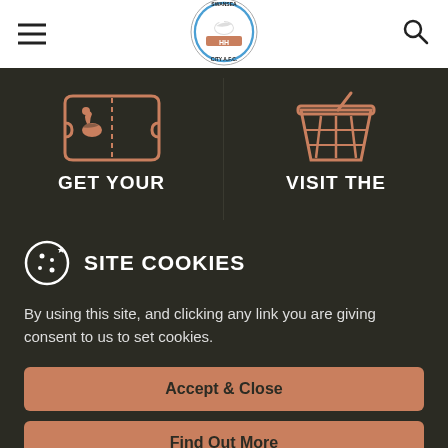Swansea City AFC navigation bar with hamburger menu, club logo, and search icon
[Figure (logo): Swansea City AFC circular badge logo — white swan on blue background with club name and HH emblem]
[Figure (illustration): Orange ticket icon with swan logo cutout, labeled GET YOUR]
[Figure (illustration): Orange shopping basket/bucket icon with pencil, labeled VISIT THE]
SITE COOKIES
By using this site, and clicking any link you are giving consent to us to set cookies.
Accept & Close
Find Out More